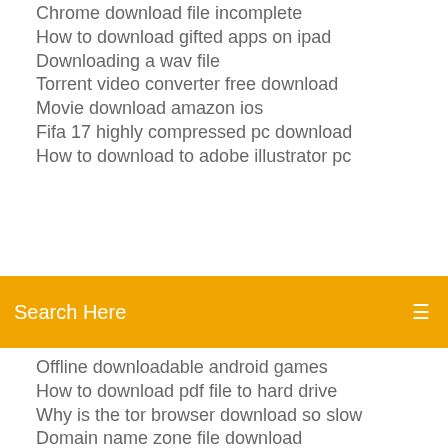Chrome download file incomplete
How to download gifted apps on ipad
Downloading a wav file
Torrent video converter free download
Movie download amazon ios
Fifa 17 highly compressed pc download
How to download to adobe illustrator pc
[Figure (screenshot): Orange search bar with text 'Search Here' and a menu icon on the right]
Offline downloadable android games
How to download pdf file to hard drive
Why is the tor browser download so slow
Domain name zone file download
Edward britton by gary crew pdf download
Nvidia geforce gtx drivers download
She downloaded the timestop app
Wondows file download hal.dll
Download madden 12 xbox for android free
Thoptv apk 4.4.4 download